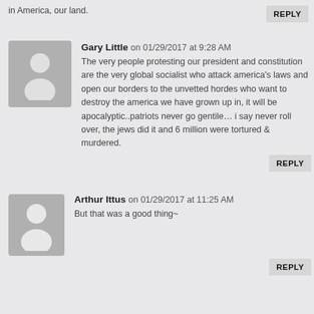in America, our land.
REPLY
Gary Little on 01/29/2017 at 9:28 AM
The very people protesting our president and constitution are the very global socialist who attack america's laws and open our borders to the unvetted hordes who want to destroy the america we have grown up in, it will be apocalyptic..patriots never go gentile… i say never roll over, the jews did it and 6 million were tortured & murdered.
REPLY
Arthur Ittus on 01/29/2017 at 11:25 AM
But that was a good thing~
REPLY